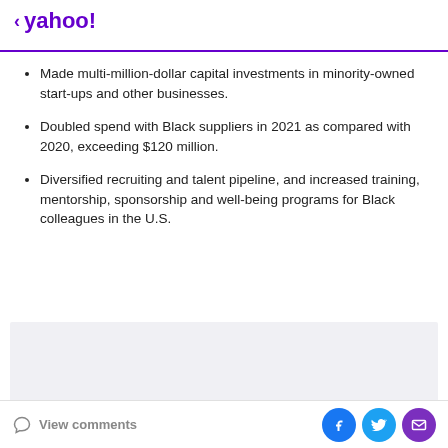< yahoo!
Made multi-million-dollar capital investments in minority-owned start-ups and other businesses.
Doubled spend with Black suppliers in 2021 as compared with 2020, exceeding $120 million.
Diversified recruiting and talent pipeline, and increased training, mentorship, sponsorship and well-being programs for Black colleagues in the U.S.
[Figure (other): Gray placeholder advertisement box]
View comments | Facebook | Twitter | Email share icons